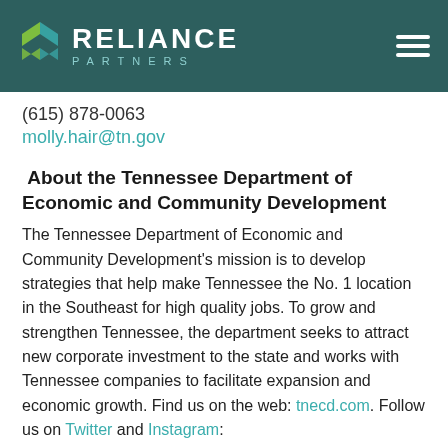RELIANCE PARTNERS
(615) 878-0063
molly.hair@tn.gov
About the Tennessee Department of Economic and Community Development
The Tennessee Department of Economic and Community Development's mission is to develop strategies that help make Tennessee the No. 1 location in the Southeast for high quality jobs. To grow and strengthen Tennessee, the department seeks to attract new corporate investment to the state and works with Tennessee companies to facilitate expansion and economic growth. Find us on the web: tnecd.com. Follow us on Twitter and Instagram: